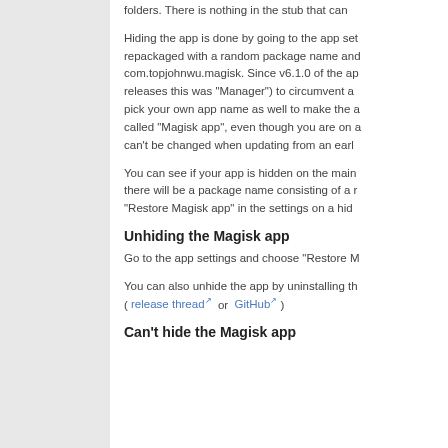folders. There is nothing in the stub that can
Hiding the app is done by going to the app set repackaged with a random package name and com.topjohnwu.magisk. Since v6.1.0 of the ap releases this was "Manager") to circumvent a pick your own app name as well to make the a called "Magisk app", even though you are on a can't be changed when updating from an earl
You can see if your app is hidden on the main there will be a package name consisting of a r "Restore Magisk app" in the settings on a hid
Unhiding the Magisk app
Go to the app settings and choose "Restore M
You can also unhide the app by uninstalling th ( release thread↗ or GitHub↗ )
Can't hide the Magisk app